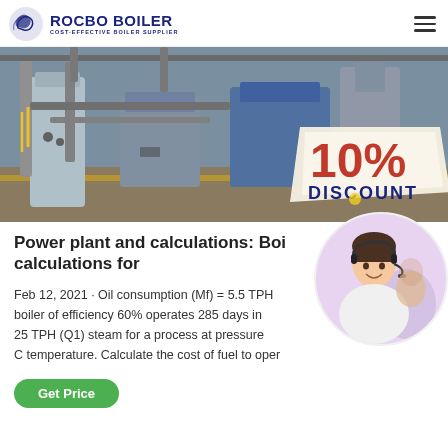ROCBO BOILER - COST-EFFECTIVE BOILER SUPPLIER
[Figure (photo): Industrial boiler plant interior showing pipes, ducts, and equipment with a 10% DISCOUNT badge overlay]
Power plant and calculations: Boi calculations for
Feb 12, 2021 · Oil consumption (Mf) = 5.5 TPH boiler of efficiency 60% operates 285 days in 25 TPH (Q1) steam for a process at pressure C temperature. Calculate the cost of fuel to oper
[Figure (photo): Customer service representative woman with headset in circular frame]